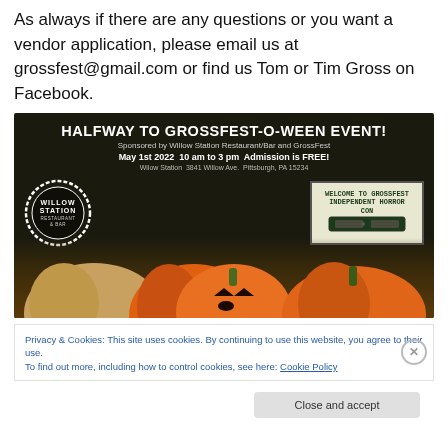As always if there are any questions or you want a vendor application, please email us at grossfest@gmail.com or find us Tom or Tim Gross on Facebook.
[Figure (photo): Event flyer for 'Halfway to GrossFest-O-Ween Event!' on dark background with pumpkins, Willow Station Restaurant/Bar logo, and a VHS tape Welcome to GrossFest sign. Sponsored by Willow Station Restaurant/Bar and GrossFest. May 1st 2022 10 am to 3 pm. Admission is FREE! Willow Station 3841 Willow Ave. Pittsburgh, PA 15234.]
Privacy & Cookies: This site uses cookies. By continuing to use this website, you agree to their use.
To find out more, including how to control cookies, see here: Cookie Policy
Close and accept